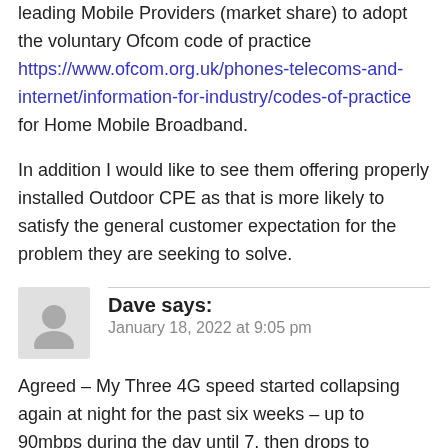leading Mobile Providers (market share) to adopt the voluntary Ofcom code of practice https://www.ofcom.org.uk/phones-telecoms-and-internet/information-for-industry/codes-of-practice for Home Mobile Broadband.
In addition I would like to see them offering properly installed Outdoor CPE as that is more likely to satisfy the general customer expectation for the problem they are seeking to solve.
Dave says: January 18, 2022 at 9:05 pm
Agreed – My Three 4G speed started collapsing again at night for the past six weeks – up to 90mbps during the day until 7, then drops to 1mbps. Disgrace, all with a full signal, and on a